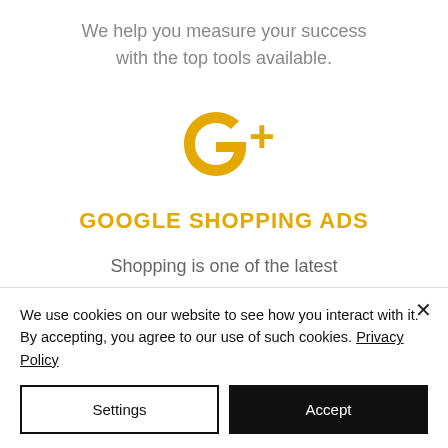We help you measure your success with the top tools available.
[Figure (logo): Google G+ logo in yellow/gold color]
GOOGLE SHOPPING ADS
Shopping is one of the latest advertising opportunities on the largest search platform. You can use it to appear above and next to
We use cookies on our website to see how you interact with it. By accepting, you agree to our use of such cookies. Privacy Policy
Settings
Accept